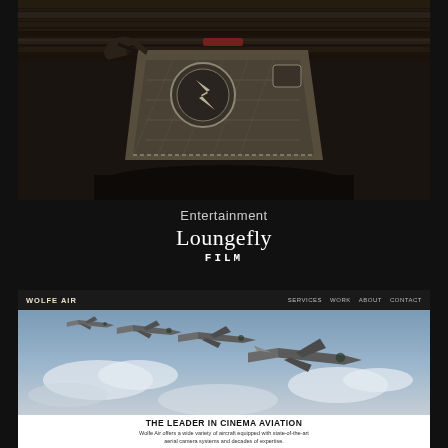[Figure (photo): Photo of a Loungefly branded backpack/bag sitting on a dark wooden surface with horizontal slat background, brown/olive colored with circular logo badge]
Entertainment
Loungefly
FILM
[Figure (screenshot): Screenshot of Wolfe Air website showing navigation bar with logo and links (SERVICES, WORK, ABOUT, CONTACT), hero image of military fighter jets flying in formation through clouds, headline THE LEADER IN CINEMA AVIATION, subtext: Wolfe Air offers a wide variety of aircraft equipped with state-of-the-art aerial camera systems and decades of expertise.]